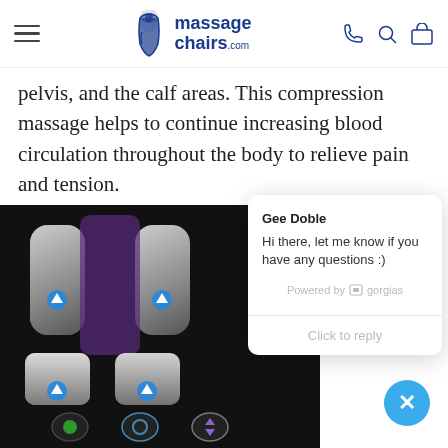massagechairs.com
pelvis, and the calf areas. This compression massage helps to continue increasing blood circulation throughout the body to relieve pain and tension.
[Figure (screenshot): Massage chair product photo showing chair arm rests and foot/calf massager sections with blue indicator arrows, dark background]
[Figure (screenshot): Chat widget popup from Gorgias showing agent Gee Doble with message: Hi there, let me know if you have any questions :) — with Powered by gorgias footer and Click to reply input]
[Figure (other): Blue circular close/X button in bottom right corner]